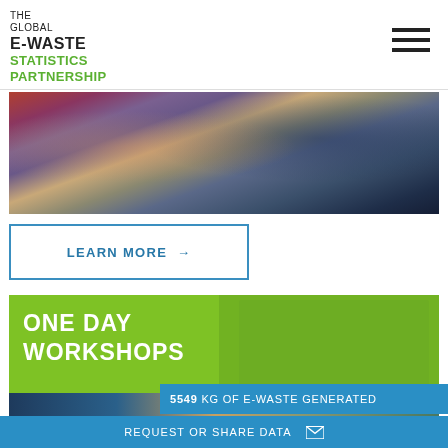THE GLOBAL E-WASTE STATISTICS PARTNERSHIP
[Figure (photo): Classroom workshop scene with people working on laptops]
LEARN MORE →
ONE DAY WORKSHOPS
5549 KG OF E-WASTE GENERATED
REQUEST OR SHARE DATA